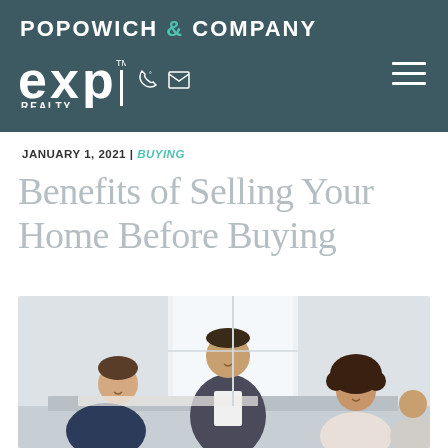POPOWICH & COMPANY — eXp Realty
JANUARY 1, 2021 | BUYING
Benefits of Selling Your Home Before Buying
[Figure (photo): Three people smiling and leaning over a table, appearing to review documents in a bright office setting. A man in a blazer stands in the center, with a man in a navy jacket on the left and a woman with curly hair on the right.]